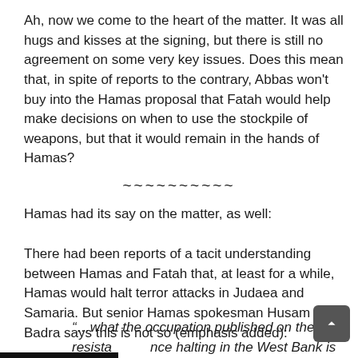Ah, now we come to the heart of the matter. It was all hugs and kisses at the signing, but there is still no agreement on some very key issues. Does this mean that, in spite of reports to the contrary, Abbas won't buy into the Hamas proposal that Fatah would help make decisions on when to use the stockpile of weapons, but that it would remain in the hands of Hamas?
~~~~~~~~~~
Hamas had its say on the matter, as well:
There had been reports of a tacit understanding between Hamas and Fatah that, at least for a while, Hamas would halt terror attacks in Judaea and Samaria. But senior Hamas spokesman Husam Badra says this is not so (emphasis added):
“…what the occupation published on the resistance halting in the West Bank is not true…